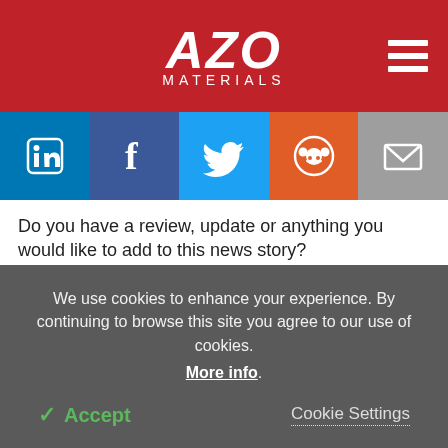[Figure (logo): AZO Materials logo on red header background with hamburger menu icon on the right]
[Figure (infographic): Social sharing bar with LinkedIn (blue), Facebook (dark blue), Twitter (light blue), Reddit (orange), and Email (gray) icons]
Do you have a review, update or anything you would like to add to this news story?
Leave your feedback
Login
[Figure (screenshot): Cookie consent banner with text: We use cookies to enhance your experience. By continuing to browse this site you agree to our use of cookies. More info. Accept / Cookie Settings buttons.]
We use cookies to enhance your experience. By continuing to browse this site you agree to our use of cookies. More info.
Accept
Cookie Settings